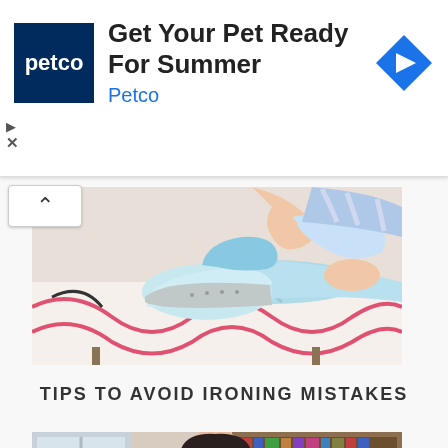[Figure (screenshot): Petco advertisement banner: Petco logo (dark blue square with white 'petco' text), headline 'Get Your Pet Ready For Summer', brand name 'Petco' in blue, and a blue diamond arrow icon on the right. Play and close (X) controls at lower left.]
[Figure (photo): Photo of a person ironing fabric on a patterned ironing board. A blue iron is visible pressing down on light blue fabric. The ironing board cover has a swirly pink and black pattern.]
TIPS TO AVOID IRONING MISTAKES
[Figure (photo): Photo of a young man with dark hair leaning over a table, writing or studying, set in what appears to be a library background with bookshelves.]